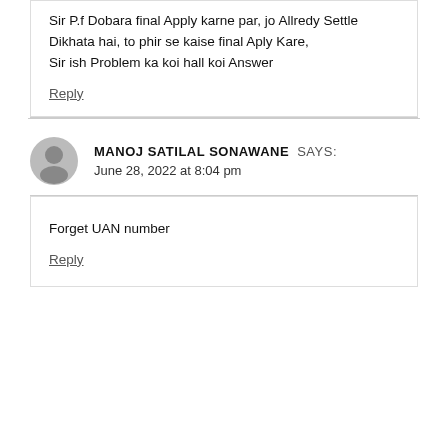Sir P.f Dobara final Apply karne par, jo Allredy Settle Dikhata hai, to phir se kaise final Aply Kare,
Sir ish Problem ka koi hall koi Answer
Reply
MANOJ SATILAL SONAWANE SAYS:
June 28, 2022 at 8:04 pm
Forget UAN number
Reply